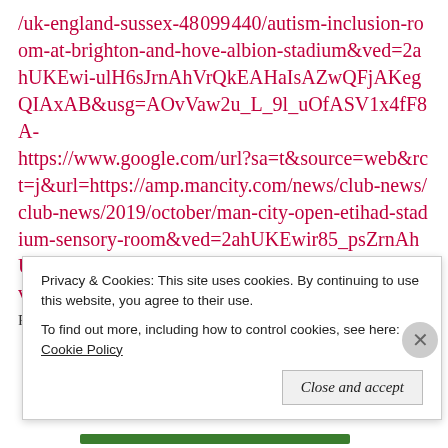/uk-england-sussex-48099440/autism-inclusion-room-at-brighton-and-hove-albion-stadium&ved=2ahUKEwi-ulH6sJrnAhVrQkEAHaIsAZwQFjAKegQIAxAB&usg=AOvVaw2u_L_9l_uOfASV1x4fF8A- https://www.google.com/url?sa=t&source=web&rct=j&url=https://amp.mancity.com/news/club-news/club-news/2019/october/man-city-open-etihad-stadium-sensory-room&ved=2ahUKEwir85_psZrnAhUQTcAKHXjSAKMQFjABegQIAxAB&usg=AOvVaw2e161FUoDBXgU-QL2KtzWV&ampcf=1
For the Premier League clubs, we have now joined in
Privacy & Cookies: This site uses cookies. By continuing to use this website, you agree to their use. To find out more, including how to control cookies, see here: Cookie Policy